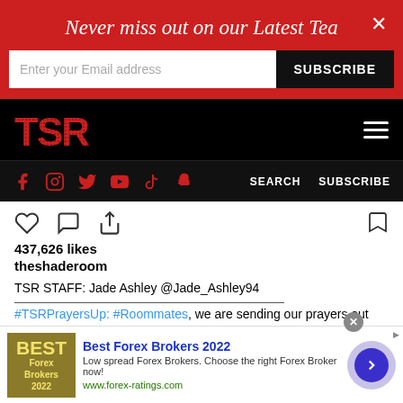Never miss out on our Latest Tea
Enter your Email address  SUBSCRIBE
[Figure (logo): TSR (The Shade Room) logo in red on black background with hamburger menu icon]
Social media icons (Facebook, Instagram, Twitter, YouTube, TikTok, Snapchat) and SEARCH, SUBSCRIBE links
[Figure (screenshot): Instagram post action icons: heart (like), comment bubble, share, and bookmark]
437,626 likes
theshaderoom
TSR STAFF: Jade Ashley @Jade_Ashley94
#TSRPrayersUp: #Roommates, we are sending our prayers out
[Figure (infographic): Advertisement: Best Forex Brokers 2022. Low spread Forex Brokers. Choose the right Forex Broker now! www.forex-ratings.com]